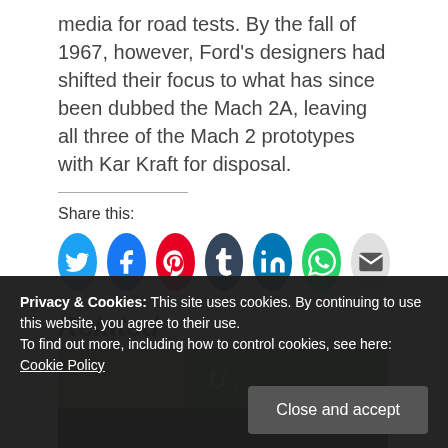media for road tests. By the fall of 1967, however, Ford's designers had shifted their focus to what has since been dubbed the Mach 2A, leaving all three of the Mach 2 prototypes with Kar Kraft for disposal.
Share this:
[Figure (other): Social media share icons: Twitter (blue), Facebook (blue), Pinterest (red), Tumblr (dark navy), LinkedIn (blue), WhatsApp (green), Email (gray)]
Related
[Figure (photo): Partial view of a related article image showing a vintage car scene with green sign in background]
Privacy & Cookies: This site uses cookies. By continuing to use this website, you agree to their use. To find out more, including how to control cookies, see here: Cookie Policy
Close and accept